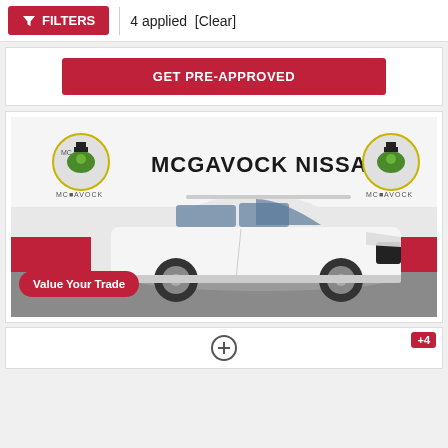FILTERS | 4 applied [Clear]
GET PRE-APPROVED
[Figure (photo): White Nissan SUV (Rogue) photographed indoors at McGavock Nissan dealership. The background shows a white wall with the McGavock Nissan logo and frog mascot. A 'Value Your Trade' pink pill-shaped badge overlays the lower-left of the image.]
+4